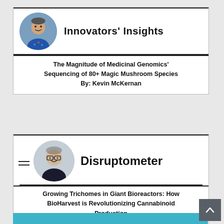Innovators' Insights
The Magnitude of Medicinal Genomics' Sequencing of 80+ Magic Mushroom Species By: Kevin McKernan
Disruptometer
Growing Trichomes in Giant Bioreactors: How BioHarvest is Revolutionizing Cannabinoid Production
[Figure (logo): HIGHPOINT by Worthington Industries advertisement with teal/blue background showing industrial cylinder/container equipment]